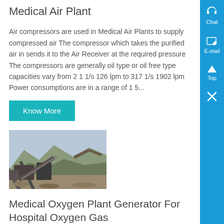Medical Air Plant
Air compressors are used in Medical Air Plants to supply compressed air The compressor which takes the purified air in sends it to the Air Receiver at the required pressure The compressors are generally oil type or oil free type capacities vary from 2 1 1/s 126 lpm to 317 1/s 1902 lpm Power consumptions are in a range of 1 5...
Know More
[Figure (photo): Industrial/construction site with machinery and mountainous background]
Medical Oxygen Plant Generator For Hospital Oxygen Gas